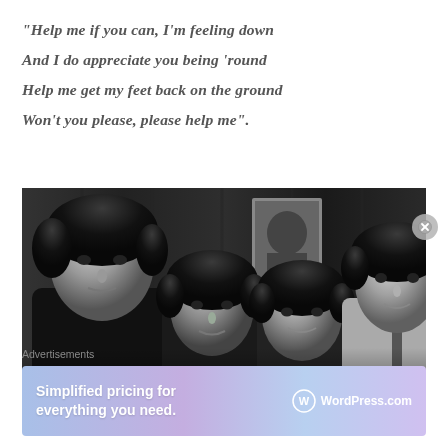“Help me if you can, I’m feeling down
And I do appreciate you being ‘round
Help me get my feet back on the ground
Won’t you please, please help me”.
[Figure (photo): Black and white photograph of four young men with mop-top haircuts posing together, likely The Beatles]
Advertisements
[Figure (infographic): WordPress.com advertisement banner: Simplified pricing for everything you need.]